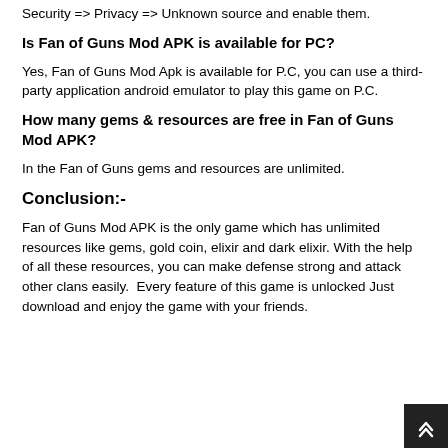Security => Privacy => Unknown source and enable them.
Is Fan of Guns Mod APK is available for PC?
Yes, Fan of Guns Mod Apk is available for P.C, you can use a third-party application android emulator to play this game on P.C.
How many gems & resources are free in Fan of Guns Mod APK?
In the Fan of Guns gems and resources are unlimited.
Conclusion:-
Fan of Guns Mod APK is the only game which has unlimited resources like gems, gold coin, elixir and dark elixir. With the help of all these resources, you can make defense strong and attack other clans easily.  Every feature of this game is unlocked Just download and enjoy the game with your friends.